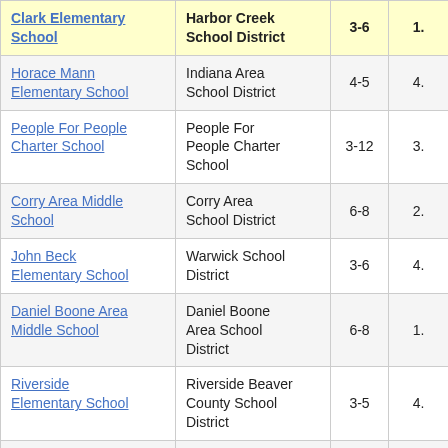| School Name | District | Grades | Score |
| --- | --- | --- | --- |
| Clark Elementary School | Harbor Creek School District | 3-6 | 1. |
| Horace Mann Elementary School | Indiana Area School District | 4-5 | 4. |
| People For People Charter School | People For People Charter School | 3-12 | 3. |
| Corry Area Middle School | Corry Area School District | 6-8 | 2. |
| John Beck Elementary School | Warwick School District | 3-6 | 4. |
| Daniel Boone Area Middle School | Daniel Boone Area School District | 6-8 | 1. |
| Riverside Elementary School | Riverside Beaver County School District | 3-5 | 4. |
| Blue Bell Elementary School | Wissahickon School District | 3-5 | 5. |